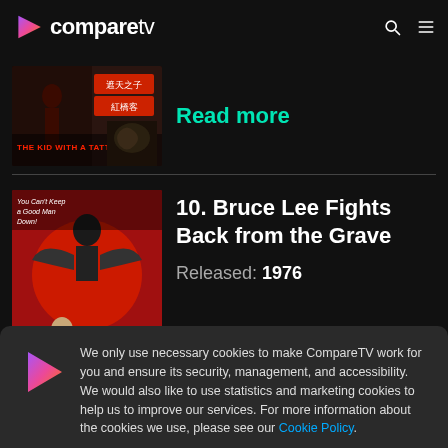compareTV
[Figure (photo): Movie thumbnail for The Kid with a Tattoo — dark action film poster with Chinese characters]
Read more
[Figure (photo): Movie poster for Bruce Lee Fights Back from the Grave (1976) — red background with Bruce Lee and a demon figure, text: You Can't Keep a Good Man Down!]
10. Bruce Lee Fights Back from the Grave
Released: 1976
We only use necessary cookies to make CompareTV work for you and ensure its security, management, and accessibility. We would also like to use statistics and marketing cookies to help us to improve our services. For more information about the cookies we use, please see our Cookie Policy.